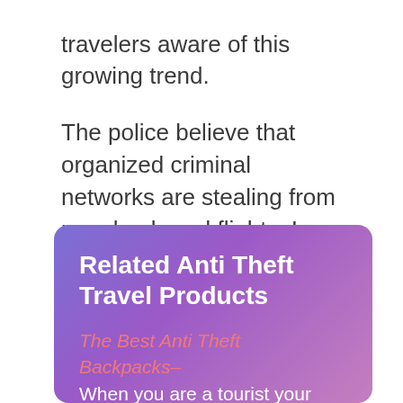travelers aware of this growing trend.
The police believe that organized criminal networks are stealing from people aboard flights. In fact, one passenger had over $200,000 in cash and two watches stolen from his carry-on bag.
Related Anti Theft Travel Products
The Best Anti Theft Backpacks– When you are a tourist your